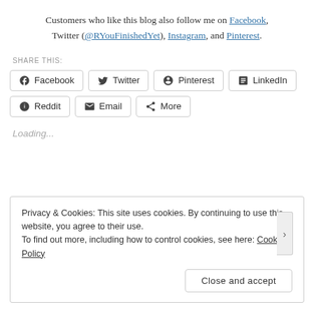Customers who like this blog also follow me on Facebook, Twitter (@RYouFinishedYet), Instagram, and Pinterest.
SHARE THIS:
Share buttons: Facebook, Twitter, Pinterest, LinkedIn, Reddit, Email, More
Loading...
Privacy & Cookies: This site uses cookies. By continuing to use this website, you agree to their use. To find out more, including how to control cookies, see here: Cookie Policy